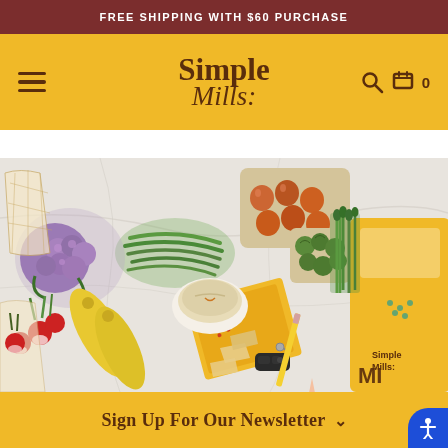FREE SHIPPING WITH $60 PURCHASE
[Figure (logo): Simple Mills logo with hamburger menu, search icon, and cart icon on golden yellow navigation bar]
[Figure (photo): Overhead flat-lay of fresh groceries including purple cauliflower, eggs in carton, green beans, Brussels sprouts, asparagus, yellow squash, radishes, chives, Simple Mills crackers with hummus dip, car keys, pencil, and a yellow Simple Mills branded shopping bag on a white marble surface]
Sign Up For Our Newsletter ∨